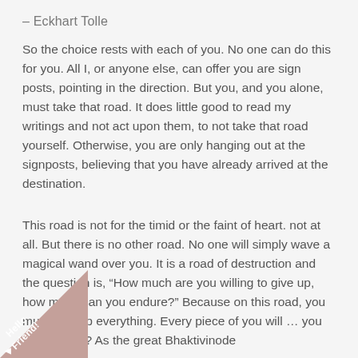– Eckhart Tolle
So the choice rests with each of you. No one can do this for you. All I, or anyone else, can offer you are sign posts, pointing in the direction. But you, and you alone, must take that road. It does little good to read my writings and not act upon them, to not take that road yourself. Otherwise, you are only hanging out at the signposts, believing that you have already arrived at the destination.
This road is not for the timid or the faint of heart. not at all. But there is no other road. No one will simply wave a magical wand over you. It is a road of destruction and the question is, “How much are you willing to give up, how much can you endure?” Because on this road, you must give up everything. Every piece of you will … you endure that? As the great Bhaktivinode…